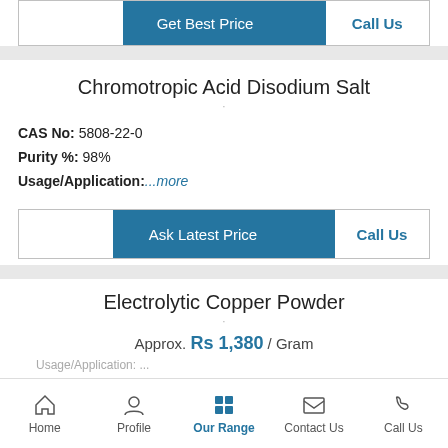[Figure (screenshot): Top button bar with Get Best Price and Call Us buttons]
Chromotropic Acid Disodium Salt
CAS No: 5808-22-0
Purity %: 98%
Usage/Application: ...more
[Figure (screenshot): Ask Latest Price and Call Us action buttons]
Electrolytic Copper Powder
Approx. Rs 1,380 / Gram
Home  Profile  Our Range  Contact Us  Call Us